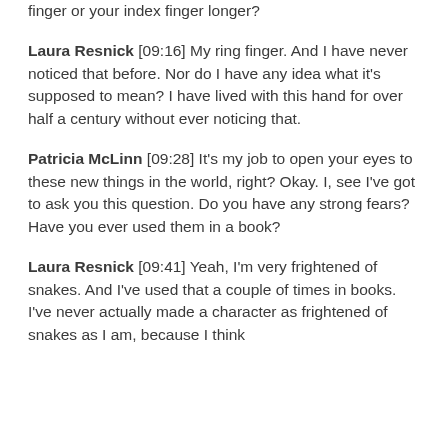finger or your index finger longer?
Laura Resnick [09:16] My ring finger. And I have never noticed that before. Nor do I have any idea what it's supposed to mean? I have lived with this hand for over half a century without ever noticing that.
Patricia McLinn [09:28] It's my job to open your eyes to these new things in the world, right? Okay. I, see I've got to ask you this question. Do you have any strong fears? Have you ever used them in a book?
Laura Resnick [09:41] Yeah, I'm very frightened of snakes. And I've used that a couple of times in books. I've never actually made a character as frightened of snakes as I am, because I think